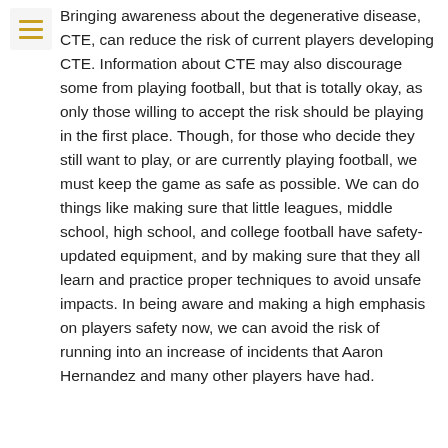Bringing awareness about the degenerative disease, CTE, can reduce the risk of current players developing CTE. Information about CTE may also discourage some from playing football, but that is totally okay, as only those willing to accept the risk should be playing in the first place. Though, for those who decide they still want to play, or are currently playing football, we must keep the game as safe as possible. We can do things like making sure that little leagues, middle school, high school, and college football have safety-updated equipment, and by making sure that they all learn and practice proper techniques to avoid unsafe impacts. In being aware and making a high emphasis on players safety now, we can avoid the risk of running into an increase of incidents that Aaron Hernandez and many other players have had.